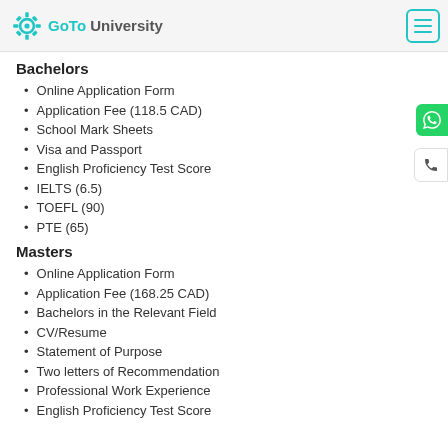GoTo University
Bachelors
Online Application Form
Application Fee (118.5 CAD)
School Mark Sheets
Visa and Passport
English Proficiency Test Score
IELTS (6.5)
TOEFL (90)
PTE (65)
Masters
Online Application Form
Application Fee (168.25 CAD)
Bachelors in the Relevant Field
CV/Resume
Statement of Purpose
Two letters of Recommendation
Professional Work Experience
English Proficiency Test Score